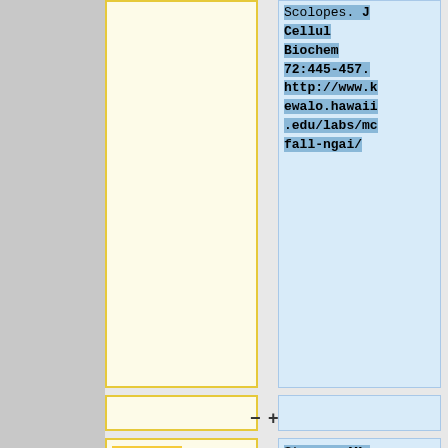Scolopes. J Cellul Biochem 72:445-457. http://www.kewalo.hawaii.edu/labs/mcfall-ngai/
Miyamoto, M.C., Lin,H.Y., Meighen,A.E. (2000, May). "Control of bioluminescence in Vibrio fischeri by the luxO signal
Stevens AM, Greenberg EP. "Quorum sensing in ''Vibrio fischeri'': essential elements for activation of the luminescence genes." J